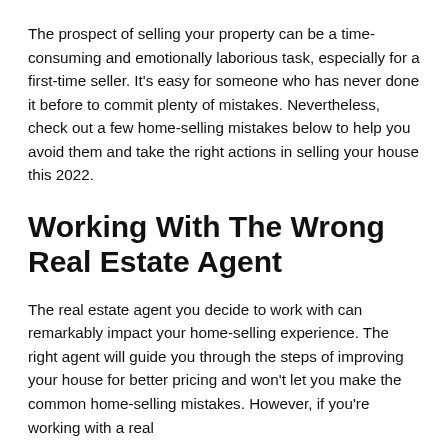The prospect of selling your property can be a time-consuming and emotionally laborious task, especially for a first-time seller. It's easy for someone who has never done it before to commit plenty of mistakes. Nevertheless, check out a few home-selling mistakes below to help you avoid them and take the right actions in selling your house this 2022.
Working With The Wrong Real Estate Agent
The real estate agent you decide to work with can remarkably impact your home-selling experience. The right agent will guide you through the steps of improving your house for better pricing and won't let you make the common home-selling mistakes. However, if you're working with a real